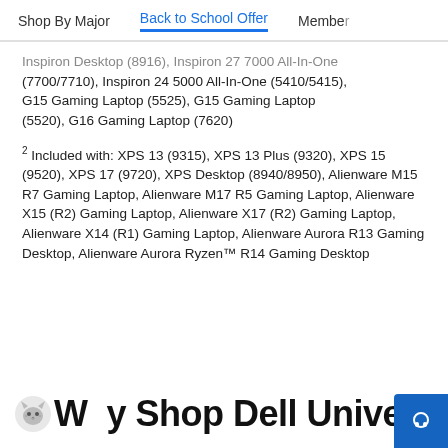Shop By Major   Back to School Offer   Member
Inspiron Desktop (8916), Inspiron 27 7000 All-In-One (7700/7710), Inspiron 24 5000 All-In-One (5410/5415), G15 Gaming Laptop (5525), G15 Gaming Laptop (5520), G16 Gaming Laptop (7620)
2 Included with: XPS 13 (9315), XPS 13 Plus (9320), XPS 15 (9520), XPS 17 (9720), XPS Desktop (8940/8950), Alienware M15 R7 Gaming Laptop, Alienware M17 R5 Gaming Laptop, Alienware X15 (R2) Gaming Laptop, Alienware X17 (R2) Gaming Laptop, Alienware X14 (R1) Gaming Laptop, Alienware Aurora R13 Gaming Desktop, Alienware Aurora Ryzen™ R14 Gaming Desktop
Why Shop Dell University